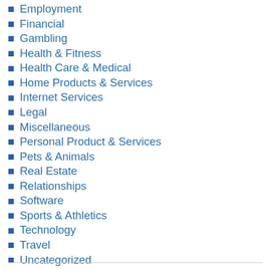Employment
Financial
Gambling
Health & Fitness
Health Care & Medical
Home Products & Services
Internet Services
Legal
Miscellaneous
Personal Product & Services
Pets & Animals
Real Estate
Relationships
Software
Sports & Athletics
Technology
Travel
Uncategorized
Web Resources